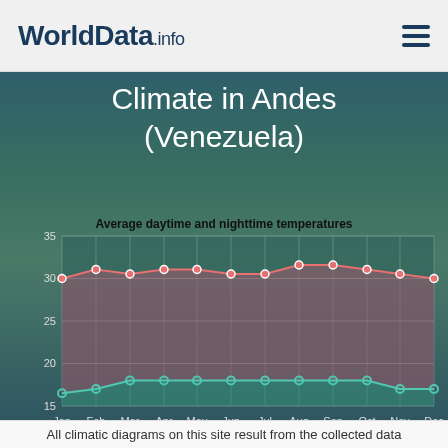WorldData.info
Climate in Andes (Venezuela)
[Figure (area-chart): Average daytime and nighttime temperatures]
All climatic diagrams on this site result from the collected data